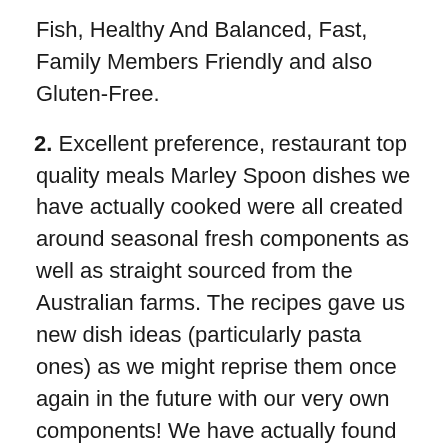Fish, Healthy And Balanced, Fast, Family Members Friendly and also Gluten-Free.
2. Excellent preference, restaurant top quality meals Marley Spoon dishes we have actually cooked were all created around seasonal fresh components as well as straight sourced from the Australian farms. The recipes gave us new dish ideas (particularly pasta ones) as we might reprise them once again in the future with our very own components! We have actually found Marley Spoon to be a terrific way to come back into food preparation.
3. Perfect service for the time poor
Dish box services are developed for those